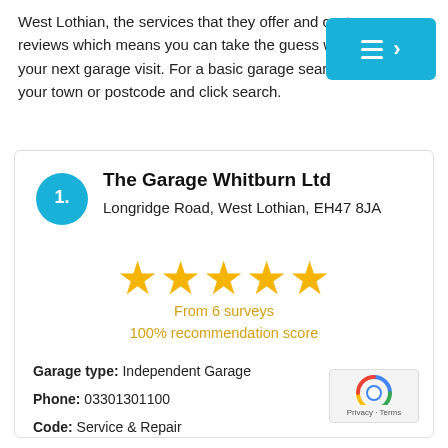West Lothian, the services that they offer and customer reviews which means you can take the guess work out of your next garage visit. For a basic garage search just enter your town or postcode and click search.
The Garage Whitburn Ltd
Longridge Road, West Lothian, EH47 8JA
★★★★★
From 6 surveys
100% recommendation score
Garage type: Independent Garage
Phone: 03301301100
Code: Service & Repair